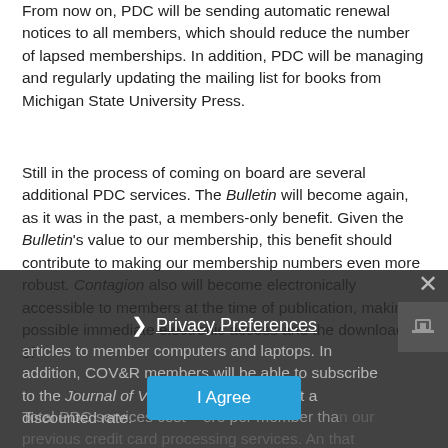From now on, PDC will be sending automatic renewal notices to all members, which should reduce the number of lapsed memberships. In addition, PDC will be managing and regularly updating the mailing list for books from Michigan State University Press.
Still in the process of coming on board are several additional PDC services. The Bulletin will become again, as it was in the past, a members-only benefit. Given the Bulletin's value to our membership, this benefit should contribute to making our membership numbers even more robust. Contagion also will become electronically accessible to members at the time of publication, making possible immediate electronic access and the downloading of
articles to member computers and laptops. In addition, COV&R members will be able to subscribe to the Journal of Violence and Religion at a discounted rate.
Total PDC services cost … ore per member than our previous credit card processing services. An that